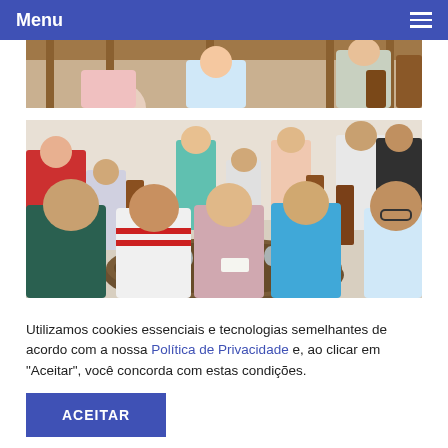Menu
[Figure (photo): Partial photo of people at a restaurant/event, showing tops of chairs and wooden ceiling beams, cropped at top.]
[Figure (photo): Group photo of people sitting around a table at a restaurant or social gathering, with wine glasses and a bottle on the table. Multiple people visible in background.]
Utilizamos cookies essenciais e tecnologias semelhantes de acordo com a nossa Política de Privacidade e, ao clicar em "Aceitar", você concorda com estas condições.
ACEITAR